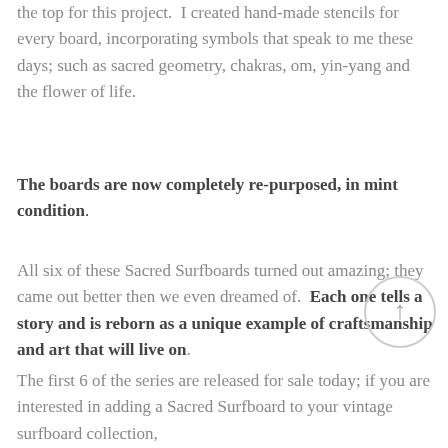the top for this project.  I created hand-made stencils for every board, incorporating symbols that speak to me these days; such as sacred geometry, chakras, om, yin-yang and the flower of life.
The boards are now completely re-purposed, in mint condition.
All six of these Sacred Surfboards turned out amazing; they came out better then we even dreamed of.  Each one tells a story and is reborn as a unique example of craftsmanship and art that will live on.
The first 6 of the series are released for sale today; if you are interested in adding a Sacred Surfboard to your vintage surfboard collection,